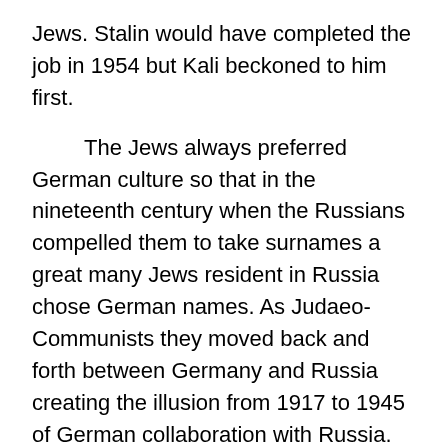Jews.  Stalin would have completed the job in 1954 but Kali beckoned to him first.
The Jews always preferred German culture so that in the nineteenth century when the Russians compelled them to take surnames a great many Jews resident in Russia chose German names.  As Judaeo-Communists they moved back and forth between Germany and Russia creating the illusion from 1917 to 1945 of German collaboration with Russia.  To have called them Jews would have opened one to the charge of anti-Semitism.  Who needs that?
If the Czars had attempted to Russify the subject peoples it was as nothing compared to the effort of the USSR under Stalin.  Nationality was outlawed under the Communists.  Stalin made the resident Germans a special